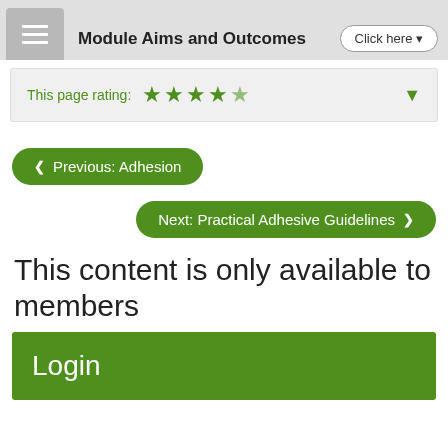Module Aims and Outcomes   Click here
This page rating: ★★★★½
❮ Previous: Adhesion
Next: Practical Adhesive Guidelines ❯
This content is only available to members
Login